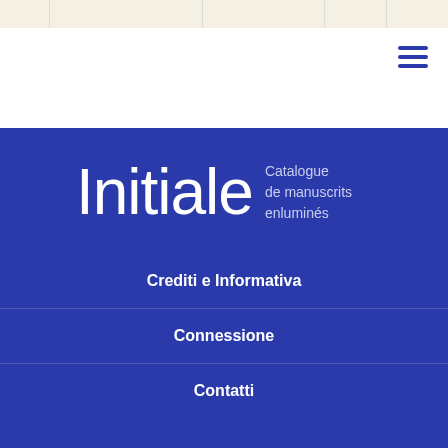Navigation bar with tabs
[Figure (other): Hamburger menu icon with three horizontal blue lines in top right corner]
Initiale — Catalogue de manuscrits enluminés
Crediti e Informativa
Connessione
Contatti